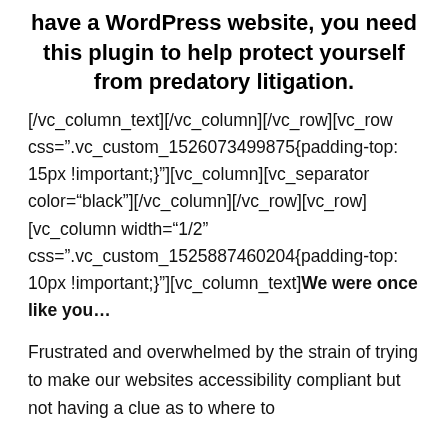have a WordPress website, you need this plugin to help protect yourself from predatory litigation.
[/vc_column_text][/vc_column][/vc_row][vc_row css=".vc_custom_1526073499875{padding-top: 15px !important;}"][vc_column][vc_separator color="black"][/vc_column][/vc_row][vc_row][vc_column width="1/2" css=".vc_custom_1525887460204{padding-top: 10px !important;}"][vc_column_text]We were once like you…
Frustrated and overwhelmed by the strain of trying to make our websites accessibility compliant but not having a clue as to where to